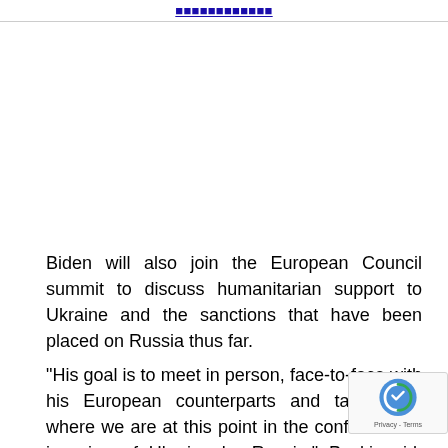[navigation link]
Biden will also join the European Council summit to discuss humanitarian support to Ukraine and the sanctions that have been placed on Russia thus far.
“His goal is to meet in person, face-to-face with his European counterparts and talk about where we are at this point in the conflict in the invasion of Ukraine by Russia,” Psaki said. “We’ve been incredibly aligned